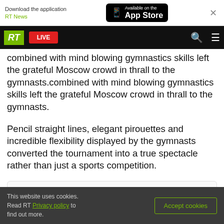[Figure (screenshot): App store banner with 'Download the application RT News' and 'Available on the App Store' button, plus a close X button]
[Figure (screenshot): RT website navigation bar with RT logo (green), LIVE button (red), search icon, and hamburger menu icon]
combined with mind blowing gymnastics skills left the grateful Moscow crowd in thrall to the gymnasts.
Pencil straight lines, elegant pirouettes and incredible flexibility displayed by the gymnasts converted the tournament into a true spectacle rather than just a sports competition.
[Figure (screenshot): Social media embed placeholder with grey loading bars and avatar circle]
This website uses cookies. Read RT Privacy policy to find out more.